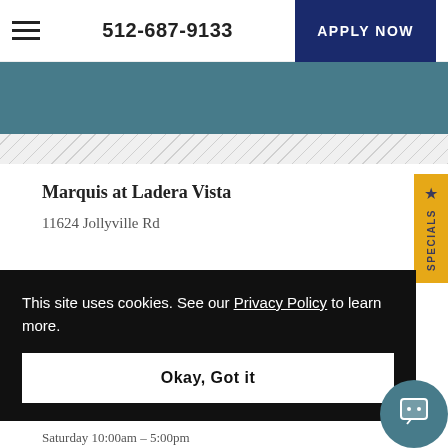512-687-9133 | APPLY NOW
[Figure (other): Teal background banner section with diagonal stripe pattern below]
Marquis at Ladera Vista
11624 Jollyville Rd
This site uses cookies. See our Privacy Policy to learn more.
Okay, Got it
Saturday  10:00am – 5:00pm